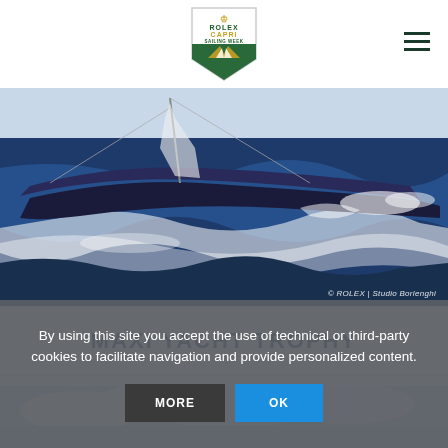Rolex Capri Sailing Week logo and navigation
[Figure (photo): Racing yacht sailing through rough seas with white foam waves, boat hull visible at low angle. Copyright credit: © ROLEX | Studio Borlenghi]
MAXI YACHT TROPHY
[Figure (photo): Partial view of a sailing scene with sky and clouds]
By using this site you accept the use of technical or third-party cookies to facilitate navigation and provide personalized content.
MORE   OK